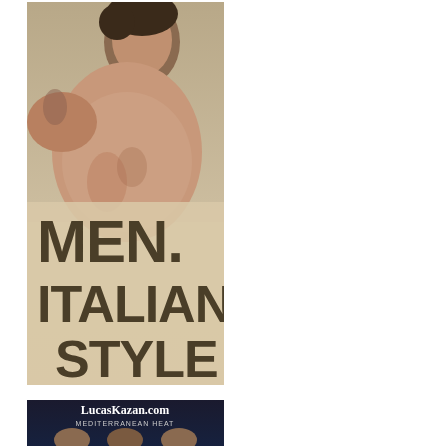[Figure (photo): Advertisement image showing a shirtless man with text 'MEN. ITALIAN STYLE' overlaid on a light beige background]
[Figure (photo): Advertisement banner for LucasKazan.com with text 'MEDITERRANEAN HEAT' and photos of men]